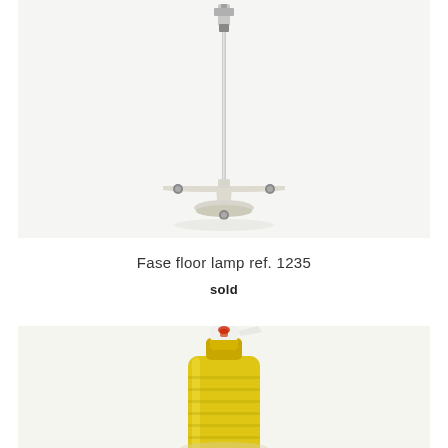[Figure (photo): Fase floor lamp ref. 1235 — a tall chrome pole with a T-shaped cream/white base featuring three small feet, shown on a white background]
Fase floor lamp ref. 1235
sold
[Figure (photo): Partial view of a yellow/amber glass bottle with a white pump/spray top, shown on a light background, cropped at the bottom of the page]